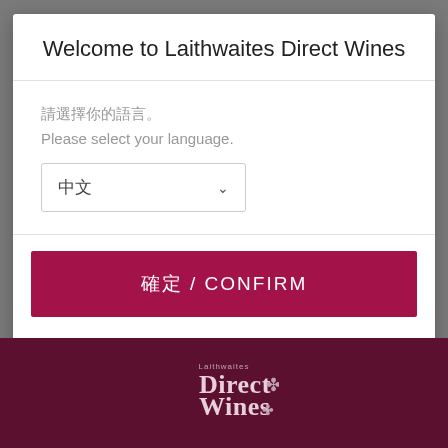Welcome to Laithwaites Direct Wines
請選擇你的語言。
Please select your language.
[Figure (screenshot): Language selector dropdown showing 中文 (Chinese) with a chevron arrow, inside a bordered box]
確定 / CONFIRM
SUBMIT
[Figure (logo): Laithwaites Direct Wines logo in white on dark burgundy background]